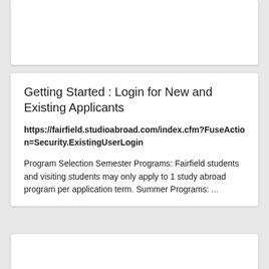[Figure (screenshot): Top white card area, partially visible, appears to be a screenshot or image card with blank white content.]
Getting Started : Login for New and Existing Applicants
https://fairfield.studioabroad.com/index.cfm?FuseAction=Security.ExistingUserLogin
Program Selection Semester Programs: Fairfield students and visiting students may only apply to 1 study abroad program per application term. Summer Programs: ...
[Figure (screenshot): Bottom white card area, partially visible at the bottom of the page.]